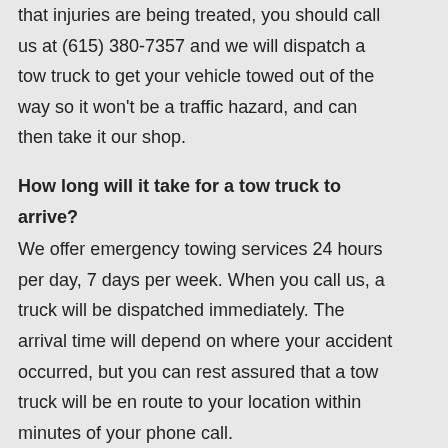that injuries are being treated, you should call us at (615) 380-7357 and we will dispatch a tow truck to get your vehicle towed out of the way so it won't be a traffic hazard, and can then take it our shop.
How long will it take for a tow truck to arrive?
We offer emergency towing services 24 hours per day, 7 days per week. When you call us, a truck will be dispatched immediately. The arrival time will depend on where your accident occurred, but you can rest assured that a tow truck will be en route to your location within minutes of your phone call.
Can you pick up my vehicle from the scene of the accident?